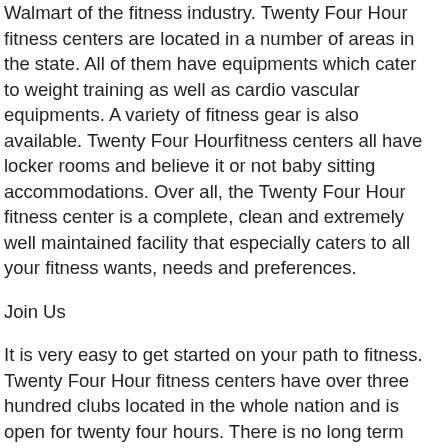Walmart of the fitness industry. Twenty Four Hour fitness centers are located in a number of areas in the state. All of them have equipments which cater to weight training as well as cardio vascular equipments. A variety of fitness gear is also available. Twenty Four Hourfitness centers all have locker rooms and believe it or not baby sitting accommodations. Over all, the Twenty Four Hour fitness center is a complete, clean and extremely well maintained facility that especially caters to all your fitness wants, needs and preferences.
Join Us
It is very easy to get started on your path to fitness. Twenty Four Hour fitness centers have over three hundred clubs located in the whole nation and is open for twenty four hours. There is no long term contract to sign up in. You have the option to pay monthly, but you are offered a complete personal training package that suits your body type, body weight and built so you are ensured with a service that is truly personalized.